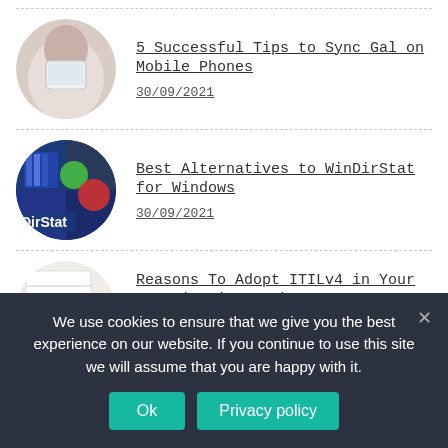5 Successful Tips to Sync Gal on Mobile Phones — 30/09/2021
Best Alternatives to WinDirStat for Windows — 30/09/2021
Reasons To Adopt ITILv4 in Your Organization: Take a Look — 30/09/2021
Best NBN Plan for Homes
We use cookies to ensure that we give you the best experience on our website. If you continue to use this site we will assume that you are happy with it.